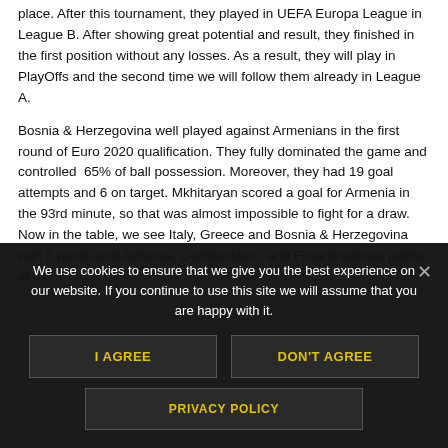place. After this tournament, they played in UEFA Europa League in League B. After showing great potential and result, they finished in the first position without any losses. As a result, they will play in PlayOffs and the second time we will follow them already in League A.
Bosnia & Herzegovina well played against Armenians in the first round of Euro 2020 qualification. They fully dominated the game and controlled 65% of ball possession. Moreover, they had 19 goal attempts and 6 on target. Mkhitaryan scored a goal for Armenia in the 93rd minute, so that was almost impossible to fight for a draw. Now in the table, we see Italy, Greece and Bosnia & Herzegovina with 3 points and Armenia, Liechtenstein, and Finland without points at all.
We use cookies to ensure that we give you the best experience on our website. If you continue to use this site we will assume that you are happy with it.